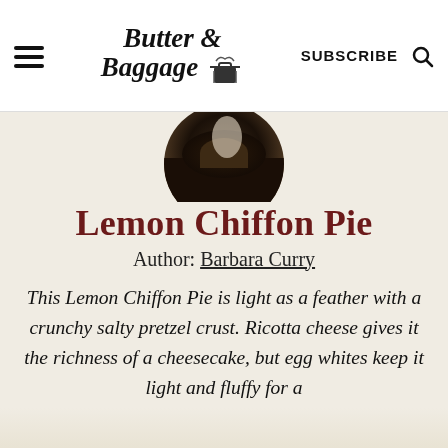Butter & Baggage — SUBSCRIBE
[Figure (photo): Circular cropped photo of a pie with dark crumbly crust from above]
Lemon Chiffon Pie
Author: Barbara Curry
This Lemon Chiffon Pie is light as a feather with a crunchy salty pretzel crust. Ricotta cheese gives it the richness of a cheesecake, but egg whites keep it light and fluffy for a
Social share bar